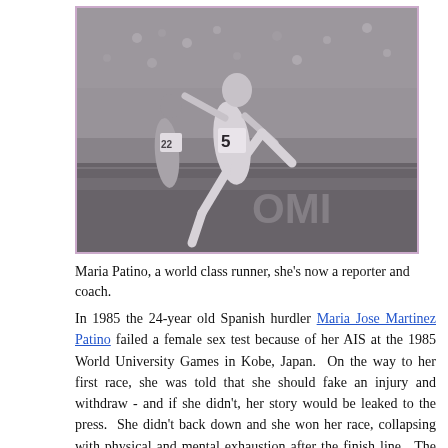[Figure (photo): Black and white photograph of Maria Patino running on a track, wearing race number 5, in a hurdling competition. Other runners are visible in the background. The photo has a purple/mauve border.]
Maria Patino, a world class runner, she's now a reporter and coach.
In 1985 the 24-year old Spanish hurdler Maria Jose Martinez Patino failed a female sex test because of her AIS at the 1985 World University Games in Kobe, Japan. On the way to her first race, she was told that she should fake an injury and withdraw - and if she didn't, her story would be leaked to the press. She didn't back down and she won her race, collapsing with physical and mental exhaustion after the finish line. The next day, her story was front page news. She returned to Spain to lose her university scholarship and her boyfriend. "I know I was a